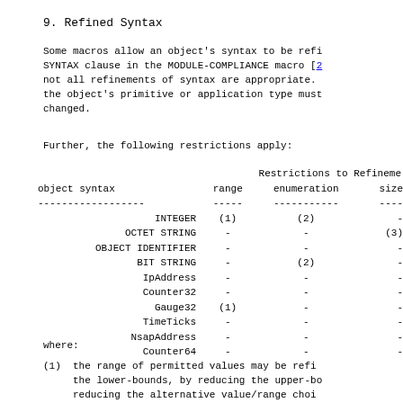9.  Refined Syntax
Some macros allow an object's syntax to be refined using the SYNTAX clause in the MODULE-COMPLIANCE macro [2]. However, not all refinements of syntax are appropriate. In particular, the object's primitive or application type must not be changed.
Further, the following restrictions apply:
| object syntax | range | enumeration | size |
| --- | --- | --- | --- |
| INTEGER | (1) | (2) | - |
| OCTET STRING | - | - | (3) |
| OBJECT IDENTIFIER | - | - | - |
| BIT STRING | - | (2) | - |
| IpAddress | - | - | - |
| Counter32 | - | - | - |
| Gauge32 | (1) | - | - |
| TimeTicks | - | - | - |
| NsapAddress | - | - | - |
| Counter64 | - | - | - |
where:
(1)  the range of permitted values may be refined by increasing the lower-bounds, by reducing the upper-bounds, reducing the alternative value/range choices